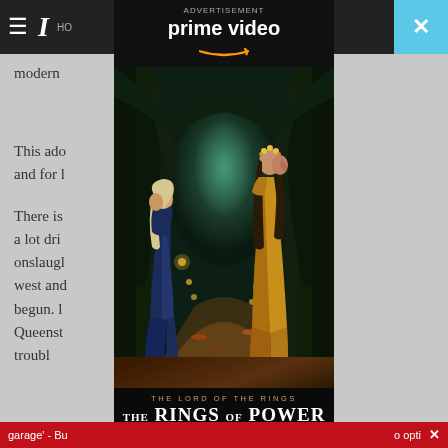≡  [Logo] HO...  ✕
modern  ...ssued.
This add  ...falls and for l...
There is  ...ay look a lot dri  ...umn onslaugl  ...m the west and  ...nly just begun. l  Queenst  ...er troubl...
[Figure (advertisement): Amazon Prime Video advertisement for 'The Lord of the Rings: The Rings of Power'. Shows two female elven figures in a mystical forest path with glowing lanterns. Text reads 'ADVERTISEMENT', 'prime video' with Amazon smile logo, 'THE LORD OF THE RINGS', 'THE RINGS OF POWER', 'WATCH NOW | NEW SERIES'.]
garage' - Bu...  o opti  ✕